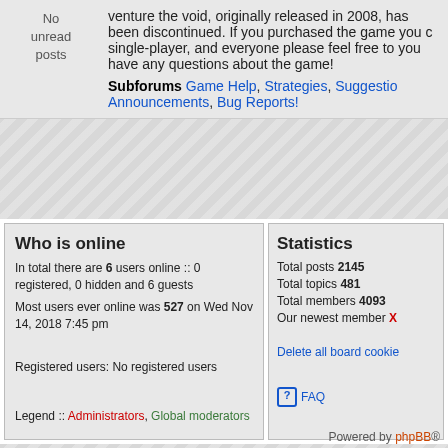No unread posts
venture the void, originally released in 2008, has been discontinued. If you purchased the game you can still play single-player, and everyone please feel free to post if you have any questions about the game!
Subforums Game Help, Strategies, Suggestions, Announcements, Bug Reports!
Who is online
In total there are 6 users online :: 0 registered, 0 hidden and 6 guests
Most users ever online was 527 on Wed Nov 14, 2018 7:45 pm

Registered users: No registered users
Legend :: Administrators, Global moderators
Statistics
Total posts 2145
Total topics 481
Total members 4093
Our newest member X
Delete all board cookies
FAQ
Powered by phpBB®